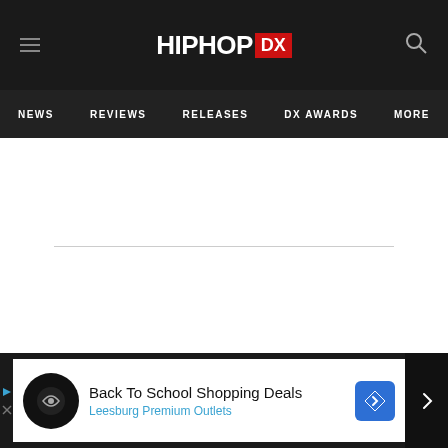HIPHOP DX
NEWS  REVIEWS  RELEASES  DX AWARDS  MORE
[Figure (other): Empty white content area with a horizontal divider line in the middle]
[Figure (other): Advertisement banner: Back To School Shopping Deals - Leesburg Premium Outlets]